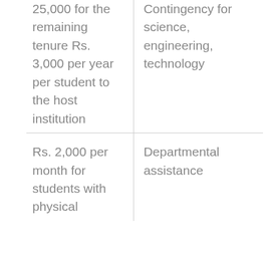| 25,000 for the remaining tenure Rs. 3,000 per year per student to the host institution | Contingency for science, engineering, technology |
| Rs. 2,000 per month for students with physical | Departmental assistance |